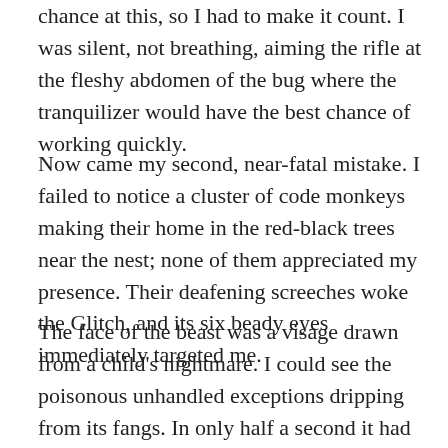chance at this, so I had to make it count. I was silent, not breathing, aiming the rifle at the fleshy abdomen of the bug where the tranquilizer would have the best chance of working quickly.
Now came my second, near-fatal mistake. I failed to notice a cluster of code monkeys making their home in the red-black trees near the nest; none of them appreciated my presence. Their deafening screeches woke the Glitch, and its six beady eyes immediately targeted me.
The face of the beast was a visage drawn from a child's nightmare. I could see the poisonous unhandled exceptions dripping from its fangs. In only half a second it had raised itself to its full towering height and rushed at me, darting left and right, sending my hurried rifle shot wide, knocking me to the ground and burying its jaws